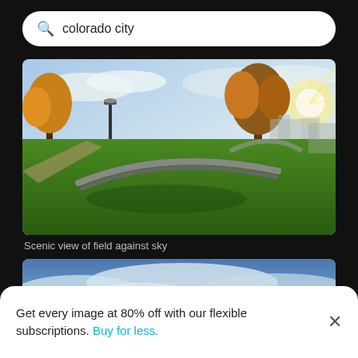colorado city
[Figure (photo): Scenic view of a green park with a curved steel bench/sculpture, trees with autumn foliage, a pathway, and bright sunlight in the background]
Scenic view of field against sky
[Figure (photo): Snow-capped mountain peak with dramatic cloudy blue sky, partial mountain view from below]
Get every image at 80% off with our flexible subscriptions. Buy for less.